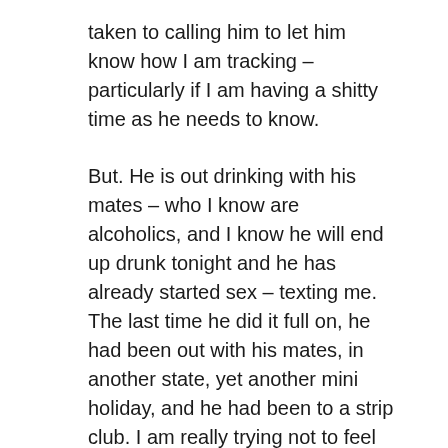taken to calling him to let him know how I am tracking – particularly if I am having a shitty time as he needs to know.
But. He is out drinking with his mates – who I know are alcoholics, and I know he will end up drunk tonight and he has already started sex – texting me. The last time he did it full on, he had been out with his mates, in another state, yet another mini holiday, and he had been to a strip club. I am really trying not to feel resentful, and think I am succeeding, however where is the empathy? Would I call him drunk if the situation was reversed? Would I rub it in his face if he were the one trying to stop drinking for good? No. I wouldn't. I would support as much as I could.